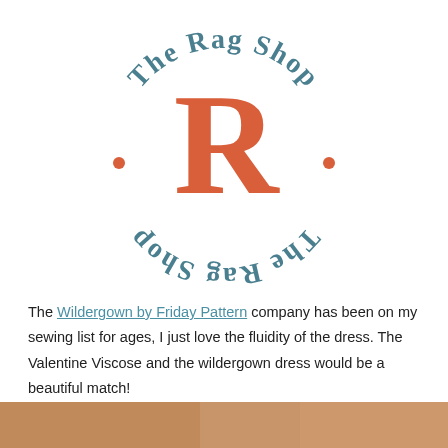[Figure (logo): The Rag Shop circular logo with large orange R in center and teal text 'The Rag Shop' arranged in a circle, repeated top and bottom]
The Wildergown by Friday Pattern company has been on my sewing list for ages, I just love the fluidity of the dress. The Valentine Viscose and the wildergown dress would be a beautiful match!
[Figure (photo): Partial photo strip at bottom of page showing warm toned fabric or clothing]